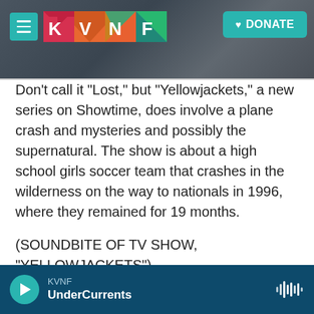[Figure (screenshot): KVNF radio website header with hamburger menu, colorful KVNF logo tiles (K in pink/red, V in orange, N in teal/multi-color, F in teal), and a teal DONATE button with heart icon on a dark rocky background]
Don't call it "Lost," but "Yellowjackets," a new series on Showtime, does involve a plane crash and mysteries and possibly the supernatural. The show is about a high school girls soccer team that crashes in the wilderness on the way to nationals in 1996, where they remained for 19 months.
(SOUNDBITE OF TV SHOW, "YELLOWJACKETS")
MELANIE LYNSKEY: (As Shauna) We agreed, say no more than we have to. And the truth is, the plane crashed. A bunch of my friends died. And
KVNF UnderCurrents